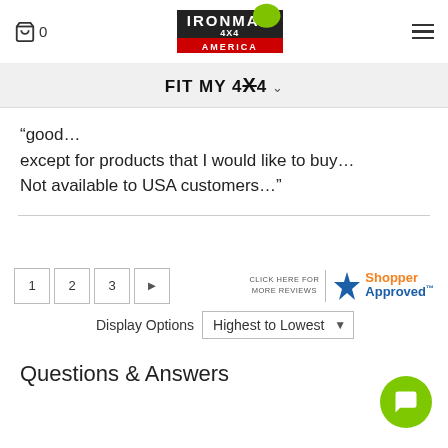Cart 0 | IRONMAN 4X4 AMERICA | Menu
FIT MY 4X4
“good…
except for products that I would like to buy…
Not available to USA customers…”
1 2 3 ► | CLICK HERE FOR MORE REVIEWS | Shopper Approved
Display Options: Highest to Lowest
Questions & Answers